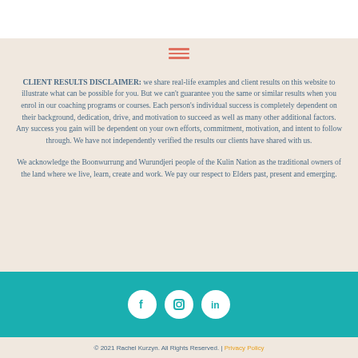[Figure (other): Hamburger menu icon (three horizontal lines) in salmon/coral color]
CLIENT RESULTS DISCLAIMER: we share real-life examples and client results on this website to illustrate what can be possible for you. But we can't guarantee you the same or similar results when you enrol in our coaching programs or courses. Each person's individual success is completely dependent on their background, dedication, drive, and motivation to succeed as well as many other additional factors. Any success you gain will be dependent on your own efforts, commitment, motivation, and intent to follow through. We have not independently verified the results our clients have shared with us.
We acknowledge the Boonwurrung and Wurundjeri people of the Kulin Nation as the traditional owners of the land where we live, learn, create and work. We pay our respect to Elders past, present and emerging.
[Figure (other): Social media icons: Facebook, Instagram, LinkedIn - white circles on teal background]
© 2021 Rachel Kurzyn. All Rights Reserved. | Privacy Policy